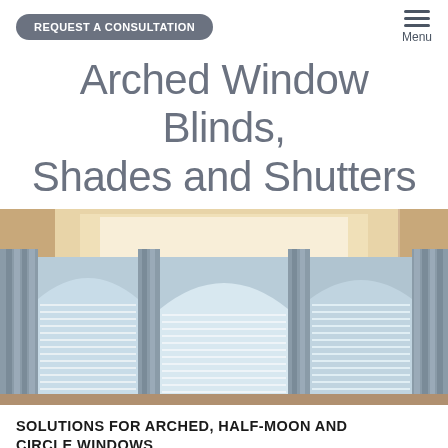REQUEST A CONSULTATION
Arched Window Blinds, Shades and Shutters
[Figure (photo): Interior room with arched windows fitted with white horizontal blinds/shutters, flanked by gray curtain panels, with a coffered ceiling in warm beige/cream tones.]
SOLUTIONS FOR ARCHED, HALF-MOON AND CIRCLE WINDOWS